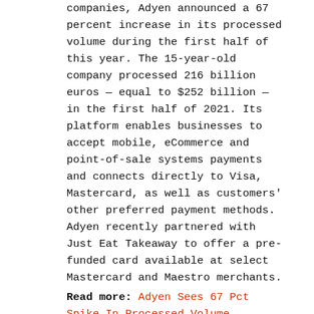companies, Adyen announced a 67 percent increase in its processed volume during the first half of this year. The 15-year-old company processed 216 billion euros — equal to $252 billion — in the first half of 2021. Its platform enables businesses to accept mobile, eCommerce and point-of-sale systems payments and connects directly to Visa, Mastercard, as well as customers' other preferred payment methods. Adyen recently partnered with Just Eat Takeaway to offer a pre-funded card available at select Mastercard and Maestro merchants.
Read more: Adyen Sees 67 Pct Spike In Processed Volume
This spring Adyen announced a collaboration with buy now, pay later (BNPL) company Afterpay to offer installment payment